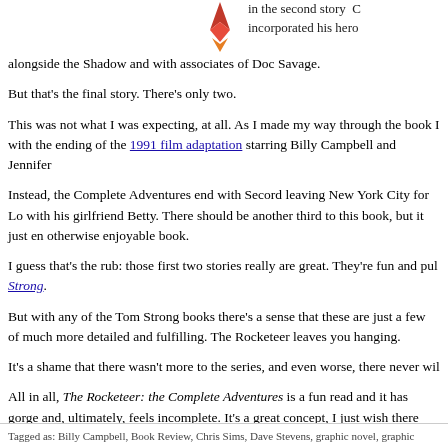[Figure (illustration): Partial rocket/flame illustration at top center of page]
in the second story C incorporated his hero alongside the Shadow and with associates of Doc Savage.
But that's the final story. There's only two.
This was not what I was expecting, at all. As I made my way through the book I with the ending of the 1991 film adaptation starring Billy Campbell and Jennifer
Instead, the Complete Adventures end with Secord leaving New York City for Lo with his girlfriend Betty. There should be another third to this book, but it just en otherwise enjoyable book.
I guess that's the rub: those first two stories really are great. They're fun and pul Strong.
But with any of the Tom Strong books there's a sense that these are just a few of much more detailed and fulfilling. The Rocketeer leaves you hanging.
It's a shame that there wasn't more to the series, and even worse, there never wil
All in all, The Rocketeer: the Complete Adventures is a fun read and it has gorge and, ultimately, feels incomplete. It's a great concept, I just wish there was more
If you'd like to read a second opinion, I'd recommend Chris Sims' review of the
Tagged as: Billy Campbell, Book Review, Chris Sims, Dave Stevens, graphic novel, graphic